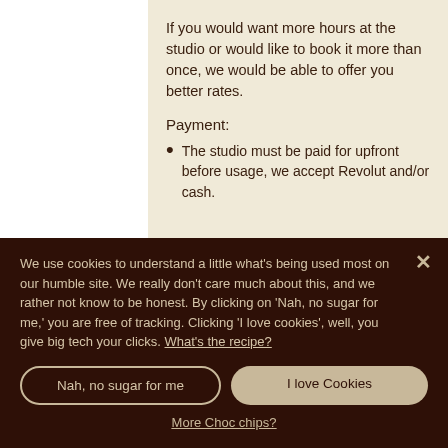If you would want more hours at the studio or would like to book it more than once, we would be able to offer you better rates.
Payment:
The studio must be paid for upfront before usage, we accept Revolut and/or cash.
We use cookies to understand a little what's being used most on our humble site. We really don't care much about this, and we rather not know to be honest. By clicking on 'Nah, no sugar for me,' you are free of tracking. Clicking 'I love cookies', well, you give big tech your clicks. What's the recipe?